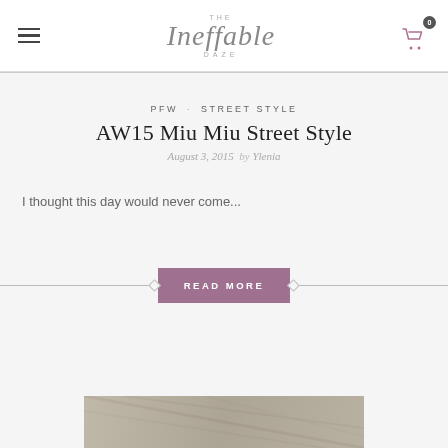The Ineffable Daze — navigation header with hamburger menu, logo, and cart icon with badge 0
PFW · STREET STYLE
AW15 Miu Miu Street Style
August 3, 2015 by Ylenia
I thought this day would never come...
READ MORE
[Figure (photo): Bottom edge of a fashion street style photo, showing textured stone or fabric surface]